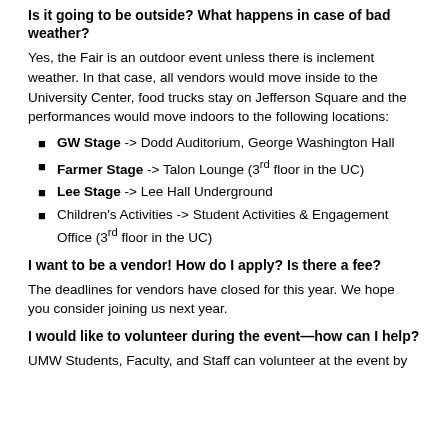Is it going to be outside?  What happens in case of bad weather?
Yes, the Fair is an outdoor event unless there is inclement weather.  In that case, all vendors would move inside to the University Center, food trucks stay on Jefferson Square and the performances would move indoors to the following locations:
GW Stage -> Dodd Auditorium, George Washington Hall
Farmer Stage -> Talon Lounge (3rd floor in the UC)
Lee Stage -> Lee Hall Underground
Children's Activities -> Student Activities & Engagement Office (3rd floor in the UC)
I want to be a vendor!  How do I apply?  Is there a fee?
The deadlines for vendors have closed for this year.  We hope you consider joining us next year.
I would like to volunteer during the event—how can I help?
UMW Students, Faculty, and Staff can volunteer at the event by